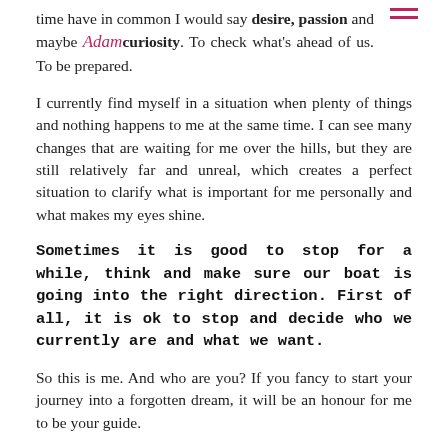time have in common I would say desire, passion and maybe curiosity. To check what's ahead of us. To be prepared.
I currently find myself in a situation when plenty of things and nothing happens to me at the same time. I can see many changes that are waiting for me over the hills, but they are still relatively far and unreal, which creates a perfect situation to clarify what is important for me personally and what makes my eyes shine.
Sometimes it is good to stop for a while, think and make sure our boat is going into the right direction. First of all, it is ok to stop and decide who we currently are and what we want.
So this is me. And who are you? If you fancy to start your journey into a forgotten dream, it will be an honour for me to be your guide.